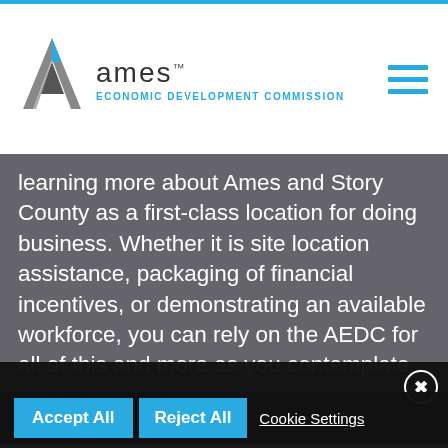[Figure (logo): Ames Economic Development Commission logo with stylized A mark and text 'Ames ECONOMIC DEVELOPMENT COMMISSION' in blue]
learning more about Ames and Story County as a first-class location for doing business. Whether it is site location assistance, packaging of financial incentives, or demonstrating an available workforce, you can rely on the AEDC for all of this and more as you contemplate
Accept All   Reject All   Cookie Settings
We use cookies to enable essential services and functionality on our site, to enhance your browsing experience, to provide a better service through personalized content, and to collect data on how visitors interact with our site. To accept the use of all cookies, click "Accept all". To reject the use of all cookies, click "Reject all". You can customize your cookie preferences by clicking "Cookie Settings". For more information about our use of cookies and to opt-out of cookies at any time, please refer to our website Privacy Policy.